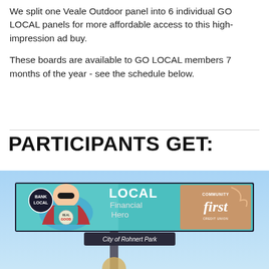We split one Veale Outdoor panel into 6 individual GO LOCAL panels for more affordable access to this high-impression ad buy.
These boards are available to GO LOCAL members 7 months of the year - see the schedule below.
PARTICIPANTS GET:
[Figure (photo): Photo of a billboard in the sky showing 'LOCAL Financial Hero' with Community First Credit Union logo and a child dressed as a superhero, with a 'Bank Local' badge and 'Real Good' badge visible. A sign below the billboard reads 'City of Rohnert Park'.]